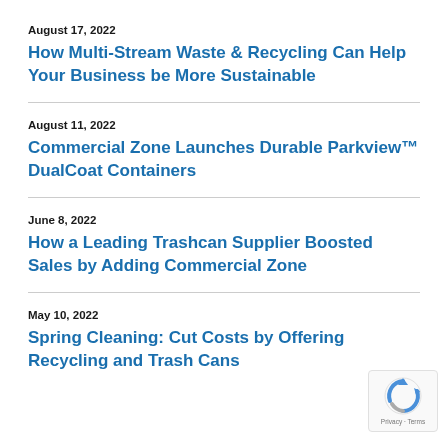August 17, 2022
How Multi-Stream Waste & Recycling Can Help Your Business be More Sustainable
August 11, 2022
Commercial Zone Launches Durable Parkview™ DualCoat Containers
June 8, 2022
How a Leading Trashcan Supplier Boosted Sales by Adding Commercial Zone
May 10, 2022
Spring Cleaning: Cut Costs by Offering Recycling and Trash Cans
[Figure (logo): reCAPTCHA badge with circular arrow icon and Privacy - Terms text]